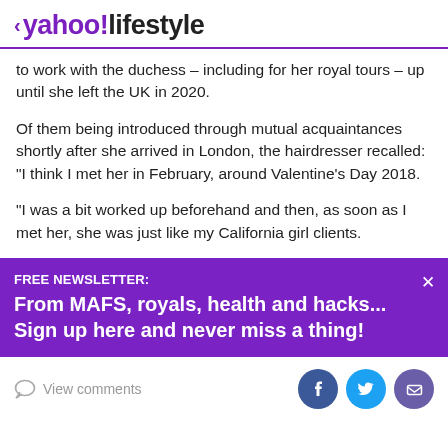< yahoo!lifestyle
to work with the duchess – including for her royal tours – up until she left the UK in 2020.
Of them being introduced through mutual acquaintances shortly after she arrived in London, the hairdresser recalled: "I think I met her in February, around Valentine's Day 2018.
"I was a bit worked up beforehand and then, as soon as I met her, she was just like my California girl clients.
[Figure (infographic): Purple newsletter signup banner: FREE NEWSLETTER: From MAFS, royals, health and hacks... Sign up here and never miss a thing! with a close (x) button]
View comments | Facebook share | Twitter share | Email share